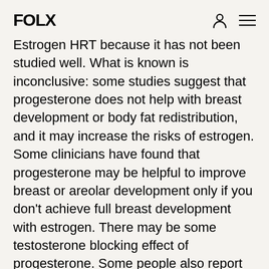FOLX
Estrogen HRT because it has not been studied well. What is known is inconclusive: some studies suggest that progesterone does not help with breast development or body fat redistribution, and it may increase the risks of estrogen. Some clinicians have found that progesterone may be helpful to improve breast or areolar development only if you don't achieve full breast development with estrogen. There may be some testosterone blocking effect of progesterone. Some people also report improvement in mood and libido, while others report the opposite. Overall, the